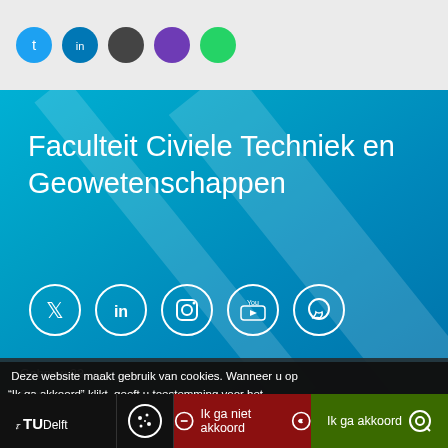[Figure (screenshot): Top strip with social media icons (colored circles) partially visible]
Faculteit Civiele Techniek en Geowetenschappen
[Figure (infographic): Row of 5 white-outlined social media icons on blue background: Twitter, LinkedIn, Instagram, YouTube, WhatsApp]
Gebouw 23
Stevinweg 1
2628 CN Delft
Tel: + 31 15 27 89802
Deze website maakt gebruik van cookies. Wanneer u op "Ik ga akkoord" klikt, geeft u toestemming voor het gebruik van cookies. Wat zijn cookies?
[Figure (logo): TU Delft logo in white on black background]
[Figure (infographic): Cookie icon (circular cookie with dots) in white circle outline on dark background]
Ik ga niet akkoord
Ik ga akkoord